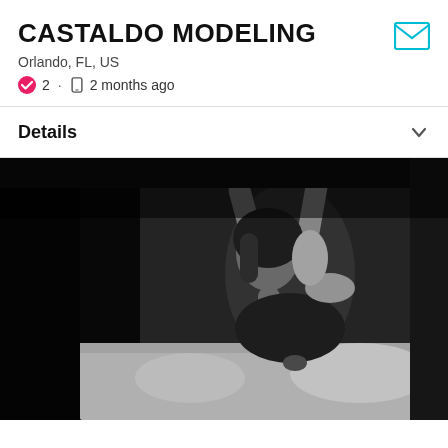CASTALDO MODELING
Orlando, FL, US
2 · 2 months ago
Details
[Figure (photo): Black and white boudoir photo of a woman with short hair, arms raised above her head, wearing a black strapless bra, sitting on a bed with white pillows in the background. She has a tattoo visible on her torso and is looking downward.]